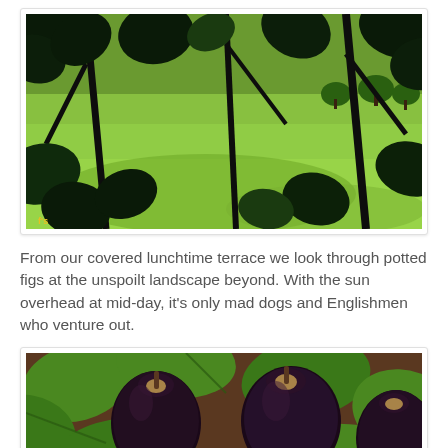[Figure (photo): View through dark silhouetted fig tree leaves and branches toward a bright green rolling landscape with trees on hills in the background. Strong contrast between dark foreground foliage and sunlit green fields.]
From our covered lunchtime terrace we look through potted figs at the unspoilt landscape beyond. With the sun overhead at mid-day, it's only mad dogs and Englishmen who venture out.
[Figure (photo): Close-up photograph of dark purple-black ripe figs hanging among large green fig leaves. The figs have a rich, deep color with some showing their interior near the stem end.]